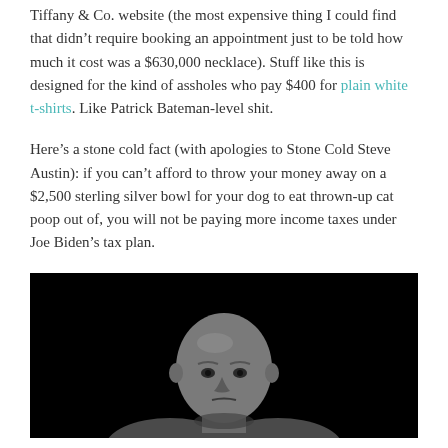Tiffany & Co. website (the most expensive thing I could find that didn't require booking an appointment just to be told how much it cost was a $630,000 necklace). Stuff like this is designed for the kind of assholes who pay $400 for plain white t-shirts. Like Patrick Bateman-level shit.
Here's a stone cold fact (with apologies to Stone Cold Steve Austin): if you can't afford to throw your money away on a $2,500 sterling silver bowl for your dog to eat thrown-up cat poop out of, you will not be paying more income taxes under Joe Biden's tax plan.
[Figure (photo): Black and white photo of a bald man looking at the camera, cropped at the shoulders, against a black background. Appears to be Stone Cold Steve Austin.]